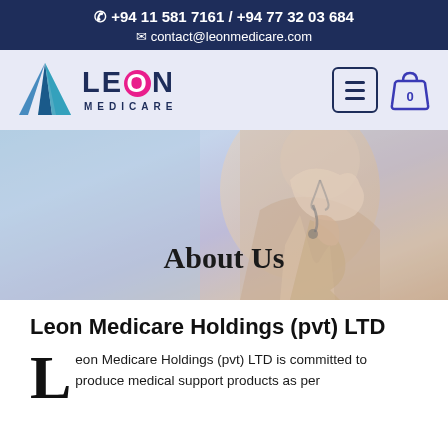+94 11 581 7161 / +94 77 32 03 684
contact@leonmedicare.com
[Figure (logo): Leon Medicare logo with blue triangle and text LEON MEDICARE, navigation icons (hamburger menu and cart with 0)]
[Figure (photo): Hero image showing a healthcare professional holding a stethoscope, with blurred medical background. Text overlay reads 'About Us']
Leon Medicare Holdings (pvt) LTD
Leon Medicare Holdings (pvt) LTD is committed to produce medical support products as per